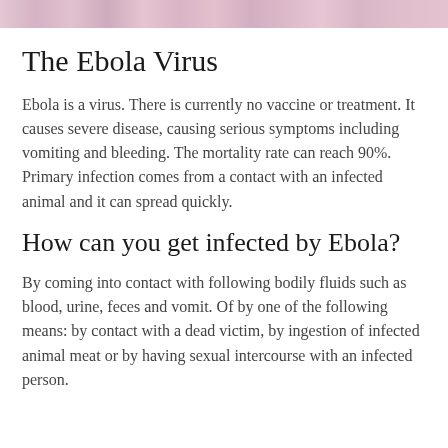[Figure (photo): Microscopic image of Ebola virus tissue, pink and purple hues]
The Ebola Virus
Ebola is a virus. There is currently no vaccine or treatment. It causes severe disease, causing serious symptoms including vomiting and bleeding. The mortality rate can reach 90%. Primary infection comes from a contact with an infected animal and it can spread quickly.
How can you get infected by Ebola?
By coming into contact with following bodily fluids such as blood, urine, feces and vomit. Of by one of the following means: by contact with a dead victim, by ingestion of infected animal meat or by having sexual intercourse with an infected person.